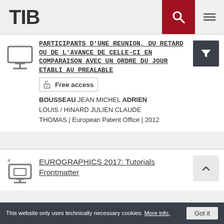TIB
PARTICIPANTS D'UNE REUNION, DU RETARD OU DE L'AVANCE DE CELLE-CI EN COMPARAISON AVEC UN ORDRE DU JOUR ETABLI AU PREALABLE
Free access
BOUSSEAU JEAN MICHEL ADRIEN LOUIS / HINARD JULIEN CLAUDE THOMAS | European Patent Office | 2012
EUROGRAPHICS 2017: Tutorials Frontmatter
This website only uses technically necessary cookies. More info. Got it